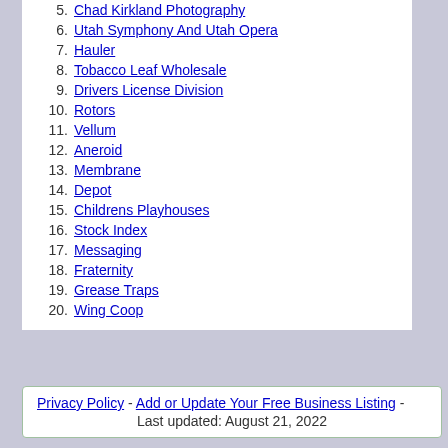5. Chad Kirkland Photography
6. Utah Symphony And Utah Opera
7. Hauler
8. Tobacco Leaf Wholesale
9. Drivers License Division
10. Rotors
11. Vellum
12. Aneroid
13. Membrane
14. Depot
15. Childrens Playhouses
16. Stock Index
17. Messaging
18. Fraternity
19. Grease Traps
20. Wing Coop
Privacy Policy - Add or Update Your Free Business Listing - Last updated: August 21, 2022